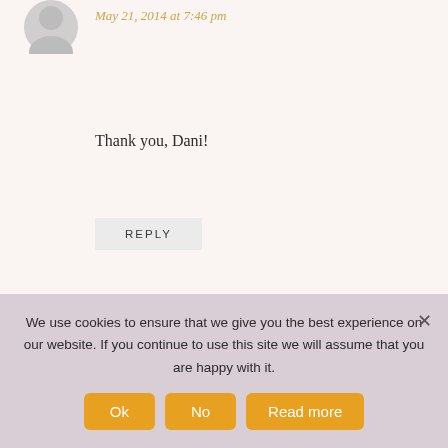[Figure (illustration): Partial avatar/profile image at top, cropped]
May 21, 2014 at 7:46 pm
Thank you, Dani!
REPLY
[Figure (illustration): Grey circular avatar for Lorraine]
LORRAINE
May 24, 2014 at 4:19 am
Hi, I love the cape and needed a pattern for a short
We use cookies to ensure that we give you the best experience on our website. If you continue to use this site we will assume that you are happy with it.